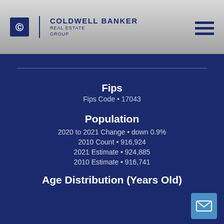Coldwell Banker Real Estate Group
Fips
Fips Code • 17043
Population
2020 to 2021 Change • down 0.9%
2010 Count • 916,924
2021 Estimate • 924,885
2010 Estimate • 916,741
Age Distribution (Years Old)